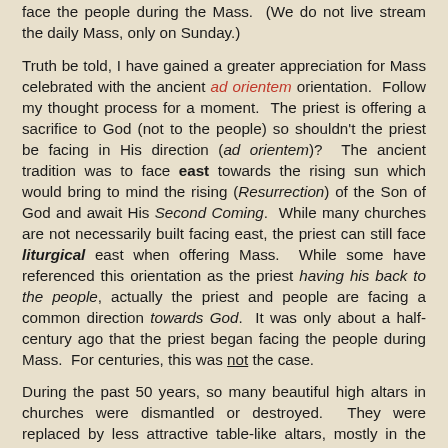face the people during the Mass. (We do not live stream the daily Mass, only on Sunday.)
Truth be told, I have gained a greater appreciation for Mass celebrated with the ancient ad orientem orientation. Follow my thought process for a moment. The priest is offering a sacrifice to God (not to the people) so shouldn't the priest be facing in His direction (ad orientem)? The ancient tradition was to face east towards the rising sun which would bring to mind the rising (Resurrection) of the Son of God and await His Second Coming. While many churches are not necessarily built facing east, the priest can still face liturgical east when offering Mass. While some have referenced this orientation as the priest having his back to the people, actually the priest and people are facing a common direction towards God. It was only about a half-century ago that the priest began facing the people during Mass. For centuries, this was not the case.
During the past 50 years, so many beautiful high altars in churches were dismantled or destroyed. They were replaced by less attractive table-like altars, mostly in the name of liturgical reform. Thankfully, our high altar and or...